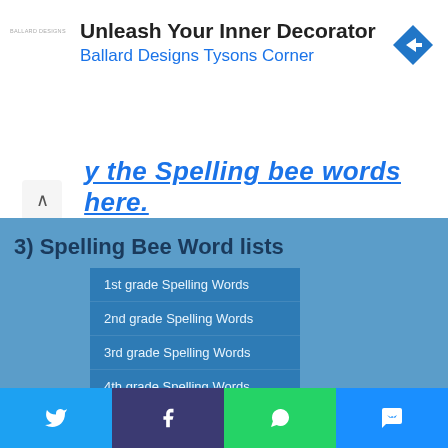[Figure (screenshot): Advertisement banner for Ballard Designs Tysons Corner with navigation arrow icon]
...the Spelling bee words here.
3) Spelling Bee Word lists
1st grade Spelling Words
2nd grade Spelling Words
3rd grade Spelling Words
4th grade Spelling Words
5th grade Spelling Words
6th grade Spelling Words
7th grade Spelling Words
8th grade Spelling Words
High School Spelling Words
Very Difficult Spelling Words
Hard Words to spell
[Figure (infographic): Social share bar with Twitter, Facebook, WhatsApp, and Messenger buttons]